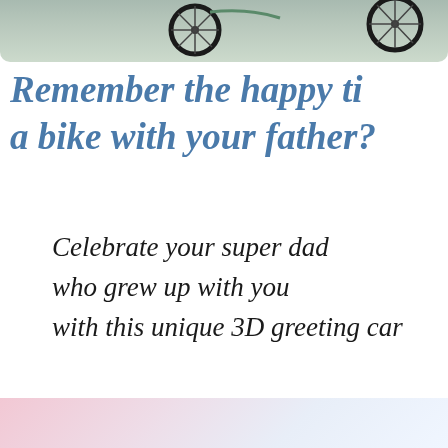[Figure (photo): Top portion of a bicycle photo showing bike wheels and frame on a gray surface, cropped at the bottom of the image.]
Remember the happy ti... a bike with your father?
Celebrate your super dad who grew up with you with this unique 3D greeting car...